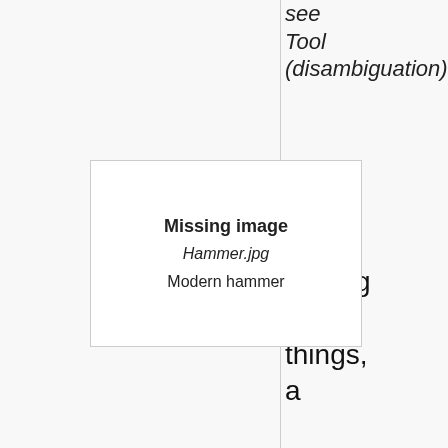see Tool (disambiguation)
[Figure (other): Missing image placeholder for Hammer.jpg showing 'Missing image', filename 'Hammer.jpg', and caption 'Modern hammer']
Modern hammer
A tool is, among other things, a device that provides a mechanical or